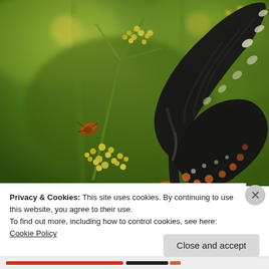[Figure (photo): Close-up photograph of a large black swallowtail butterfly with white and orange spots on its wings, perched on yellow wildflowers (fennel or similar), with a smaller brown insect also visible on the flowers. Background is blurred green foliage.]
Privacy & Cookies: This site uses cookies. By continuing to use this website, you agree to their use.
To find out more, including how to control cookies, see here: Cookie Policy